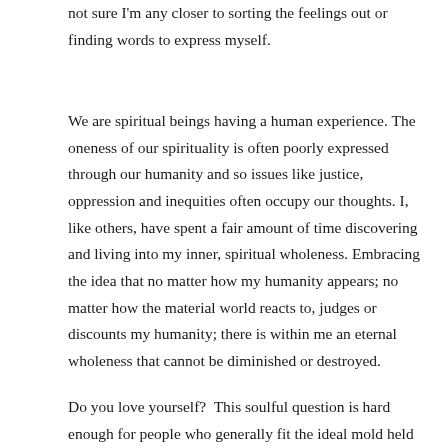not sure I'm any closer to sorting the feelings out or finding words to express myself.
We are spiritual beings having a human experience. The oneness of our spirituality is often poorly expressed through our humanity and so issues like justice, oppression and inequities often occupy our thoughts. I, like others, have spent a fair amount of time discovering and living into my inner, spiritual wholeness. Embracing the idea that no matter how my humanity appears; no matter how the material world reacts to, judges or discounts my humanity; there is within me an eternal wholeness that cannot be diminished or destroyed.
Do you love yourself?  This soulful question is hard enough for people who generally fit the ideal mold held